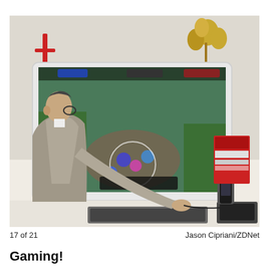[Figure (photo): A man in a grey suit and glasses sits at a desk playing a mobile game (appears to be a MOBA game) on a large white monitor. A keyboard and peripheral devices are on the desk. Decorative items are visible in the background.]
17 of 21	Jason Cipriani/ZDNet
Gaming!